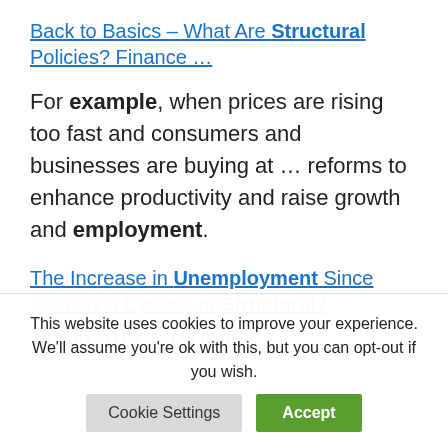Back to Basics – What Are Structural Policies? Finance …
For example, when prices are rising too fast and consumers and businesses are buying at … reforms to enhance productivity and raise growth and employment.
The Increase in Unemployment Since 2007: Is It Cyclical or Structural?
24 Jan 2013 … cyclical
This website uses cookies to improve your experience. We'll assume you're ok with this, but you can opt-out if you wish.